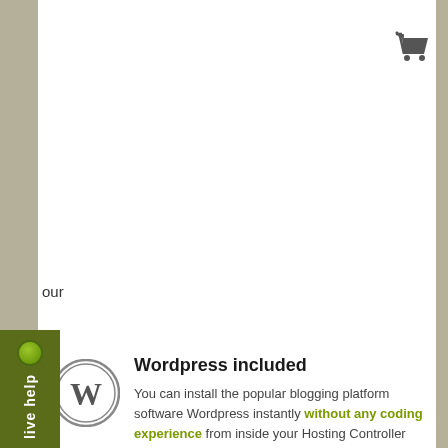[Figure (illustration): Live help tab on left side, dark olive green background with green dot indicator and white vertical text reading 'live help']
[Figure (illustration): Shopping cart icon in dark gray at top right corner]
our
[Figure (logo): WordPress circular logo with W letter]
Wordpress included
You can install the popular blogging platform software Wordpress instantly without any coding experience from inside your Hosting Controller Panel based hosting account.